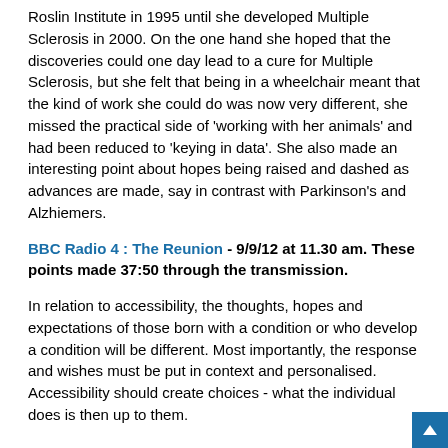Roslin Institute in 1995 until she developed Multiple Sclerosis in 2000. On the one hand she hoped that the discoveries could one day lead to a cure for Multiple Sclerosis, but she felt that being in a wheelchair meant that the kind of work she could do was now very different, she missed the practical side of 'working with her animals' and had been reduced to 'keying in data'. She also made an interesting point about hopes being raised and dashed as advances are made, say in contrast with Parkinson's and Alzhiemers.
BBC Radio 4 : The Reunion - 9/9/12 at 11.30 am. These points made 37:50 through the transmission.
In relation to accessibility, the thoughts, hopes and expectations of those born with a condition or who develop a condition will be different. Most importantly, the response and wishes must be put in context and personalised. Accessibility should create choices - what the individual does is then up to them.